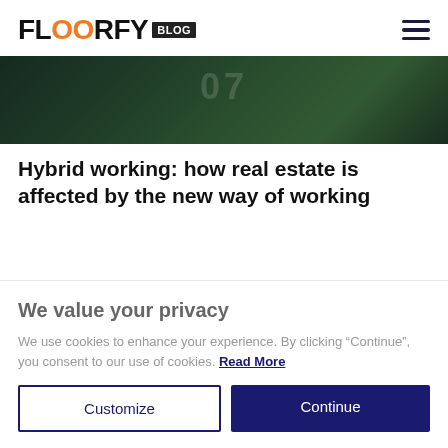FLOORFY BLOG
[Figure (photo): Hero image showing people in a room, person in green jacket visible, dark toned office/work environment]
Hybrid working: how real estate is affected by the new way of working
We value your privacy
We use cookies to enhance your experience. By clicking "Continue", you consent to our use of cookies. Read More
Customize
Continue